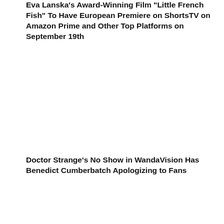Eva Lanska's Award-Winning Film "Little French Fish" To Have European Premiere on ShortsTV on Amazon Prime and Other Top Platforms on September 19th
Doctor Strange's No Show in WandaVision Has Benedict Cumberbatch Apologizing to Fans